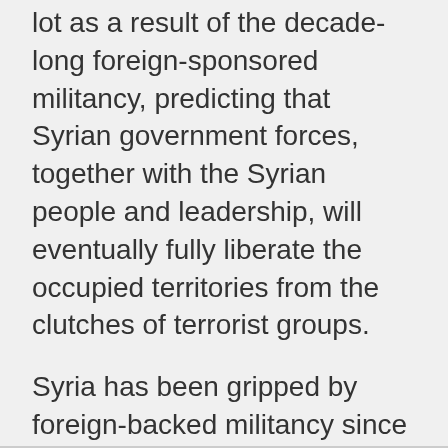lot as a result of the decade-long foreign-sponsored militancy, predicting that Syrian government forces, together with the Syrian people and leadership, will eventually fully liberate the occupied territories from the clutches of terrorist groups.
Syria has been gripped by foreign-backed militancy since 2011. In recent years, the US has been maintaining an illegal military presence on Syrian soil, collaborating with terrorists against Syria's legitimate government, stealing the country's crude oil resources, and bombing the positions of the Syrian army and anti-terror popular forces, all while imposing crippling sanctions on Damascus.